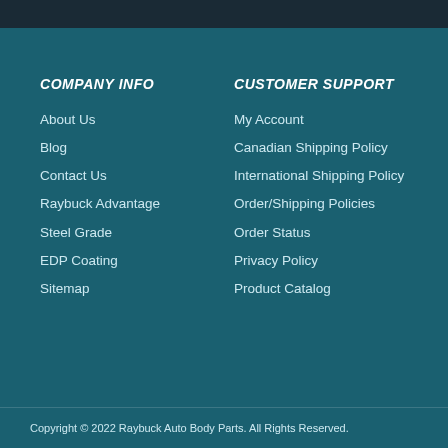COMPANY INFO
About Us
Blog
Contact Us
Raybuck Advantage
Steel Grade
EDP Coating
Sitemap
CUSTOMER SUPPORT
My Account
Canadian Shipping Policy
International Shipping Policy
Order/Shipping Policies
Order Status
Privacy Policy
Product Catalog
Copyright © 2022 Raybuck Auto Body Parts. All Rights Reserved.